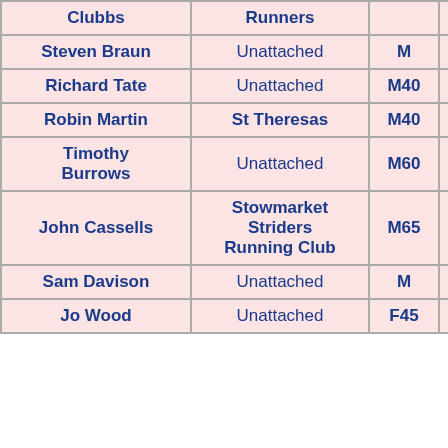| Clubbs | Runners |  |  |  |
| --- | --- | --- | --- | --- |
| Steven Braun | Unattached | M |  | 53 |
| Richard Tate | Unattached | M40 |  | 53 |
| Robin Martin | St Theresas | M40 |  | 53 |
| Timothy Burrows | Unattached | M60 |  | 53 |
| John Cassells | Stowmarket Striders Running Club | M65 |  | 53 |
| Sam Davison | Unattached | M |  | 53 |
| Jo Wood | Unattached | F45 |  | 53 |